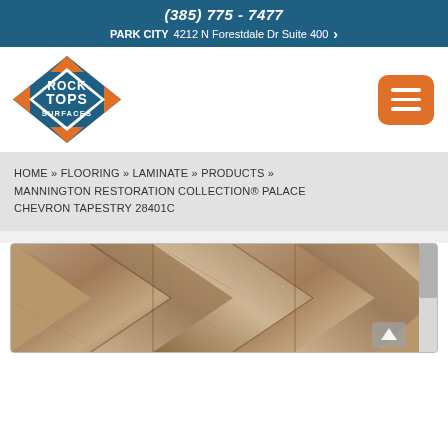(385) 775 - 7477 | PARK CITY 4212 N Forestdale Dr Suite 400
[Figure (logo): Rock Tops Surfaces logo — diamond shaped blue and orange badge with ROCK TOPS SURFACES text]
HOME » FLOORING » LAMINATE » PRODUCTS » MANNINGTON RESTORATION COLLECTION® PALACE CHEVRON TAPESTRY 28401C
[Figure (photo): Close-up photograph of chevron pattern laminate flooring — Mannington Restoration Collection Palace Chevron Tapestry 28401C in gray-brown wood tones]